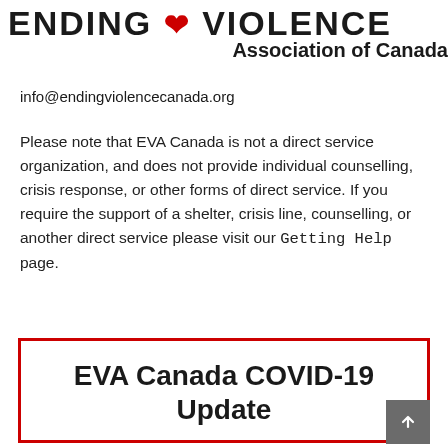ENDING ❧ VIOLENCE Association of Canada
info@endingviolencecanada.org
Please note that EVA Canada is not a direct service organization, and does not provide individual counselling, crisis response, or other forms of direct service. If you require the support of a shelter, crisis line, counselling, or another direct service please visit our Getting Help page.
EVA Canada COVID-19 Update